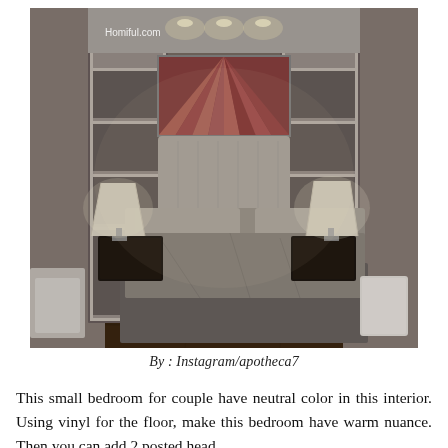[Figure (photo): A small bedroom for a couple with neutral colors. The room features a bed with gray bedding and an upholstered headboard flanked by built-in shelving units on both sides. Above the headboard is a red/maroon abstract wall art piece. Two bedside lamps on dark nightstands illuminate the room. The floor is dark wood/vinyl. Recessed lighting in the ceiling. Watermark 'Homiful.com' in top-left corner.]
By : Instagram/apotheca7
This small bedroom for couple have neutral color in this interior. Using vinyl for the floor, make this bedroom have warm nuance. Then you can add 2 posted head...